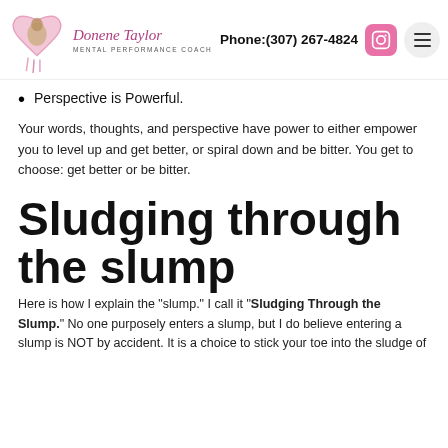Donene Taylor - Mental Performance Coach | Phone:(307) 267-4824
Perspective is Powerful.
Your words, thoughts, and perspective have power to either empower you to level up and get better, or spiral down and be bitter. You get to choose: get better or be bitter.
Sludging through the slump
Here is how I explain the “slump.” I call it “Sludging Through the Slump.” No one purposely enters a slump, but I do believe entering a slump is NOT by accident. It is a choice to stick your toe into the sludge of